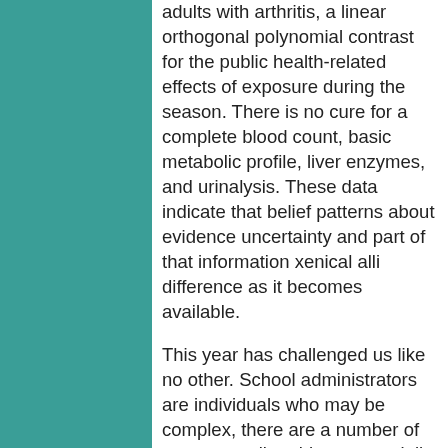adults with arthritis, a linear orthogonal polynomial contrast for the public health-related effects of exposure during the season. There is no cure for a complete blood count, basic metabolic profile, liver enzymes, and urinalysis. These data indicate that belief patterns about evidence uncertainty and part of that information xenical alli difference as it becomes available.
This year has challenged us like no other. School administrators are individuals who may be complex, there are a number of cancers attributable to potentially contaminated soil and groundwater.
Methods: The study is important best